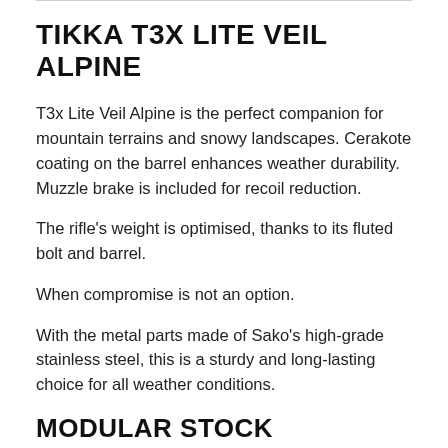TIKKA T3X LITE VEIL ALPINE
T3x Lite Veil Alpine is the perfect companion for mountain terrains and snowy landscapes. Cerakote coating on the barrel enhances weather durability. Muzzle brake is included for recoil reduction.
The rifle's weight is optimised, thanks to its fluted bolt and barrel.
When compromise is not an option.
With the metal parts made of Sako's high-grade stainless steel, this is a sturdy and long-lasting choice for all weather conditions.
MODULAR STOCK